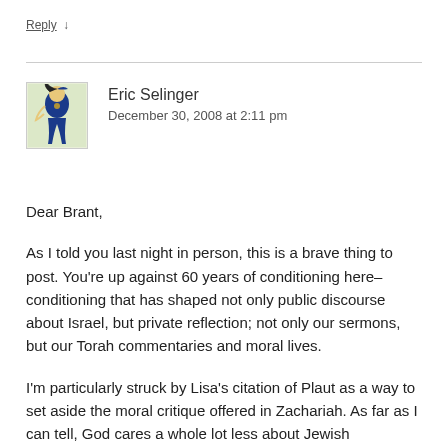Reply ↓
Eric Selinger
December 30, 2008 at 2:11 pm
Dear Brant,
As I told you last night in person, this is a brave thing to post. You're up against 60 years of conditioning here–conditioning that has shaped not only public discourse about Israel, but private reflection; not only our sermons, but our Torah commentaries and moral lives.
I'm particularly struck by Lisa's citation of Plaut as a way to set aside the moral critique offered in Zachariah. As far as I can tell, God cares a whole lot less about Jewish sovereignty